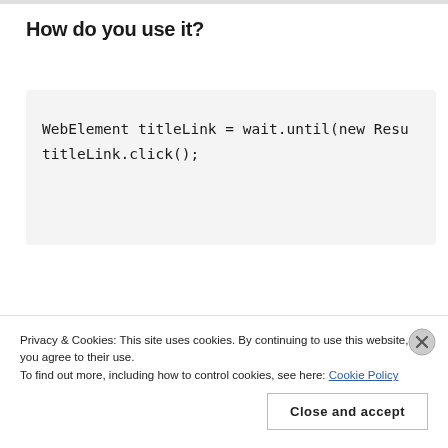How do you use it?
WebElement titleLink = wait.until(new Resu
titleLink.click();
Privacy & Cookies: This site uses cookies. By continuing to use this website, you agree to their use.
To find out more, including how to control cookies, see here: Cookie Policy
Close and accept